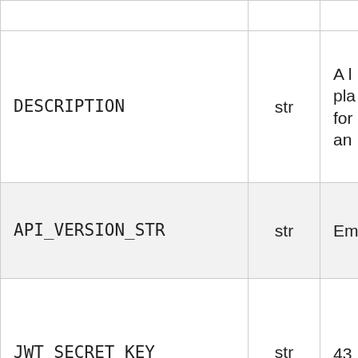| Name | Type | Description |
| --- | --- | --- |
| DESCRIPTION | str | A l... pla... for... an... |
| API_VERSION_STR | str | Em... |
| JWT_SECRET_KEY | str | 43... str... |
| JWT_ALGORITHM | str | HS... |
| ACCESS_TOKEN_EXPIRE_MINUTES | int | 11... |